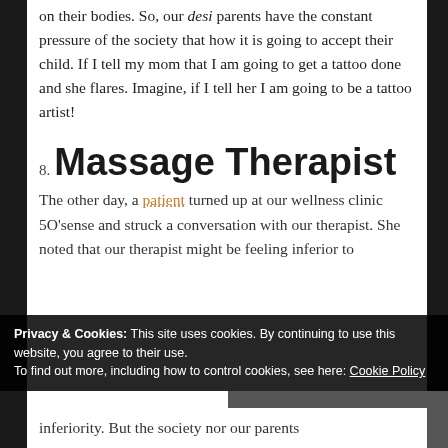on their bodies. So, our desi parents have the constant pressure of the society that how it is going to accept their child. If I tell my mom that I am going to get a tattoo done and she flares. Imagine, if I tell her I am going to be a tattoo artist!
8. Massage Therapist
The other day, a patient turned up at our wellness clinic 5O'sense and struck a conversation with our therapist. She noted that our therapist might be feeling inferior to
Privacy & Cookies: This site uses cookies. By continuing to use this website, you agree to their use. To find out more, including how to control cookies, see here: Cookie Policy
inferiority. But the society nor our parents